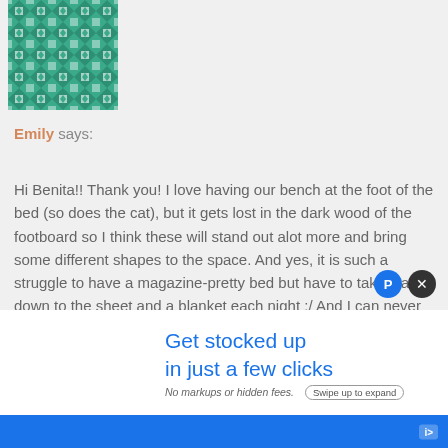[Figure (illustration): Green geometric/quilted pattern avatar icon in top left corner]
Emily says:
Hi Benita!! Thank you! I love having our bench at the foot of the bed (so does the cat), but it gets lost in the dark wood of the footboard so I think these will stand out alot more and bring some different shapes to the space. And yes, it is such a struggle to have a magazine-pretty bed but have to take it all down to the sheet and a blanket each night :/ And I can never convince the husband to let me put the insert into the duvet cover either! He'll have to just deal with it for this challenge though ;)
[Figure (infographic): Advertisement banner reading 'Get stocked up in just a few clicks' with blue text, 'No markups or hidden fees.' subtext, and 'Swipe up to expand' button]